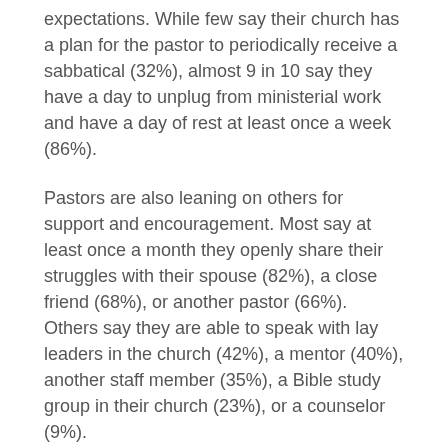expectations. While few say their church has a plan for the pastor to periodically receive a sabbatical (32%), almost 9 in 10 say they have a day to unplug from ministerial work and have a day of rest at least once a week (86%).
Pastors are also leaning on others for support and encouragement. Most say at least once a month they openly share their struggles with their spouse (82%), a close friend (68%), or another pastor (66%). Others say they are able to speak with lay leaders in the church (42%), a mentor (40%), another staff member (35%), a Bible study group in their church (23%), or a counselor (9%).
"The difficult moments and seasons pastors face require ongoing investment in their spiritual, physical and mental